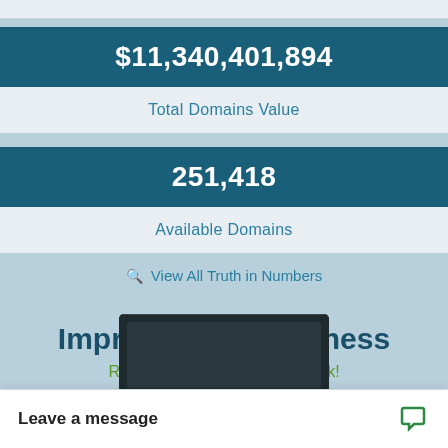$11,340,401,894
Total Domains Value
251,418
Available Domains
View All Truth in Numbers
Improve Your Business
Read or Listen to the Free Book!
[Figure (screenshot): Book cover partially visible at bottom]
Leave a message